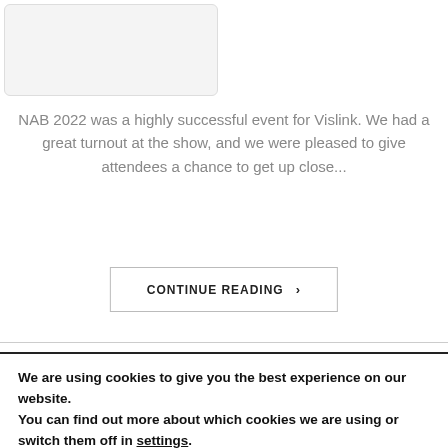[Figure (other): Partially visible image placeholder with light grey background and rounded corners]
NAB 2022 was a highly successful event for Vislink. We had a great turnout at the show, and we were pleased to give attendees a chance to get up close...
CONTINUE READING ›
We are using cookies to give you the best experience on our website.
You can find out more about which cookies we are using or switch them off in settings.
Accept